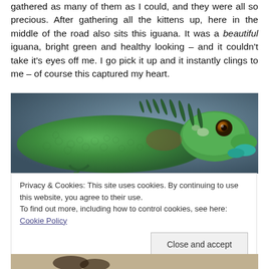gathered as many of them as I could, and they were all so precious. After gathering all the kittens up, here in the middle of the road also sits this iguana. It was a beautiful iguana, bright green and healthy looking – and it couldn't take it's eyes off me. I go pick it up and it instantly clings to me – of course this captured my heart.
[Figure (photo): Close-up photo of a bright green iguana with spines along its back, brown eye with amber iris, and teal-colored dewlap area, photographed against a blurred blue-grey background.]
Privacy & Cookies: This site uses cookies. By continuing to use this website, you agree to their use. To find out more, including how to control cookies, see here: Cookie Policy
Close and accept
[Figure (photo): Partial photo visible at the bottom of the page, showing what appears to be an animal (possibly feet or legs).]